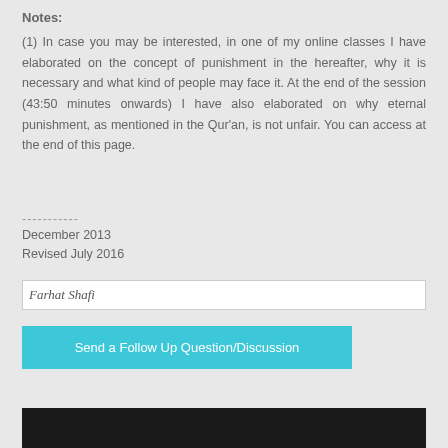Notes:
(1) In case you may be interested, in one of my online classes I have elaborated on the concept of punishment in the hereafter, why it is necessary and what kind of people may face it. At the end of the session (43:50 minutes onwards) I have also elaborated on why eternal punishment, as mentioned in the Qur'an, is not unfair. You can access at the end of this page.
-----------
December 2013
Revised July 2016
[Figure (other): Handwritten signature reading 'Farhat Shafi']
Send a Follow Up Question/Discussion
[Figure (other): Black bar at bottom of page]